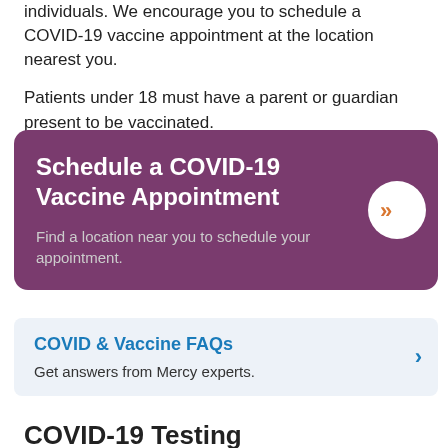individuals. We encourage you to schedule a COVID-19 vaccine appointment at the location nearest you.
Patients under 18 must have a parent or guardian present to be vaccinated.
[Figure (infographic): Purple rounded card with title 'Schedule a COVID-19 Vaccine Appointment', subtitle 'Find a location near you to schedule your appointment.', and a white circle with orange double chevron arrow on the right.]
[Figure (infographic): Light blue-gray rounded card with title 'COVID & Vaccine FAQs' in blue, subtitle 'Get answers from Mercy experts.', and a blue right chevron arrow on the right.]
COVID-19 Testing